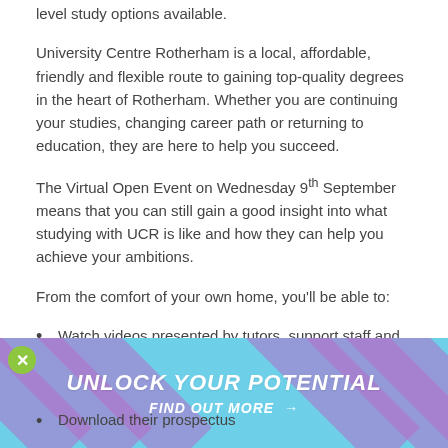level study options available.
University Centre Rotherham is a local, affordable, friendly and flexible route to gaining top-quality degrees in the heart of Rotherham. Whether you are continuing your studies, changing career path or returning to education, they are here to help you succeed.
The Virtual Open Event on Wednesday 9th September means that you can still gain a good insight into what studying with UCR is like and how they can help you achieve your ambitions.
From the comfort of your own home, you’ll be able to:
Watch videos presented by tutors, support staff and students to find out about the wide range of courses they offer, support available and what it’s like to study
Download their prospectus
[Figure (infographic): Blue banner overlay with diagonal purple stripes. Contains a green close (X) button on top left, bold italic white text 'UNLOCK YOUR POTENTIAL' and below 'FIND OUT MORE →']